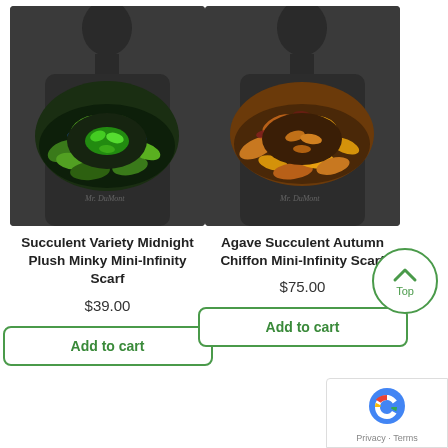[Figure (photo): Black mannequin bust wearing a dark midnight-green succulent variety plush minky mini-infinity scarf with blue and green plant patterns]
[Figure (photo): Black mannequin bust wearing an autumn chiffon mini-infinity scarf with warm golden, orange and dark leaf patterns]
Succulent Variety Midnight Plush Minky Mini-Infinity Scarf
Agave Succulent Autumn Chiffon Mini-Infinity Scarf
$39.00
$75.00
Add to cart
Add to cart